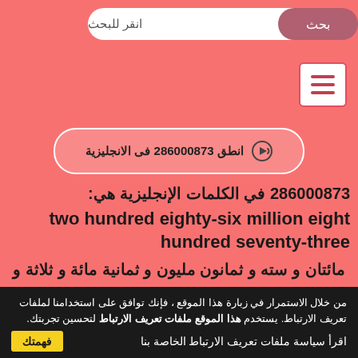[Figure (screenshot): Search bar UI with Arabic text 'انقر للبحث' and button 'بحث']
[Figure (screenshot): Hamburger menu button (three horizontal lines) on pink background]
انطق 286000873 فى الانجليزية
286000873 في الكلمات الإنجليزية هي:
two hundred eighty-six million eight hundred seventy-three
مائتان و سته و ثمانون مليون و ثمانية مائة و ثلاثة و سبعون
من خلال الاستمرار في زبارة هذا الموقع ، فإنك توافق على استخدامنا لملفات تعريف الارتباط. يستخدم هذا الموقع ملفات تعريف الارتباط لتحسين تجربتك.
اقرأ سياسة ملفات تعريف الارتباط الخاصة بنا